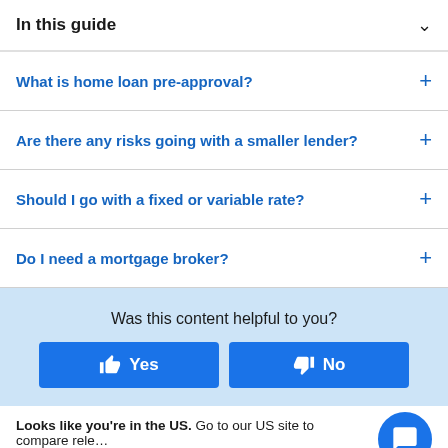In this guide
What is home loan pre-approval?
Are there any risks going with a smaller lender?
Should I go with a fixed or variable rate?
Do I need a mortgage broker?
Was this content helpful to you?
Yes
No
Looks like you're in the US. Go to our US site to compare relevant products for your country.
Go to Finder US
No, stay on this page